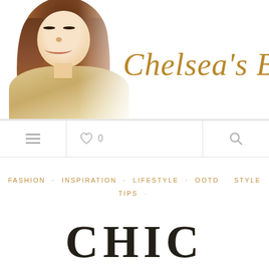[Figure (photo): Header banner of a blog with a photo of a smiling Asian woman with long brown hair wearing an off-shoulder top, fading into white on the right, with the cursive text Chelsea's Blog in gold on the right side]
☰  ♡ 0  🔍
FASHION · INSPIRATION · LIFESTYLE · OOTD · STYLE TIPS
CHIC